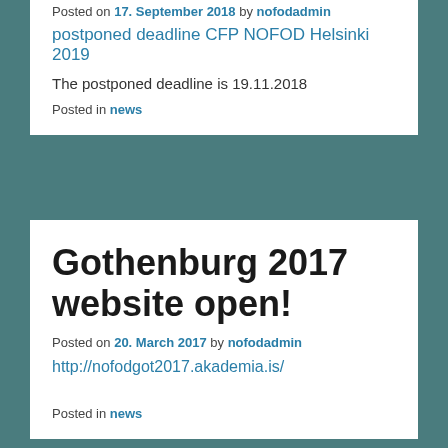Posted on 17. September 2018 by nofodadmin
postponed deadline CFP NOFOD Helsinki 2019
The postponed deadline is 19.11.2018
Posted in news
Gothenburg 2017 website open!
Posted on 20. March 2017 by nofodadmin
http://nofodgot2017.akademia.is/
Posted in news